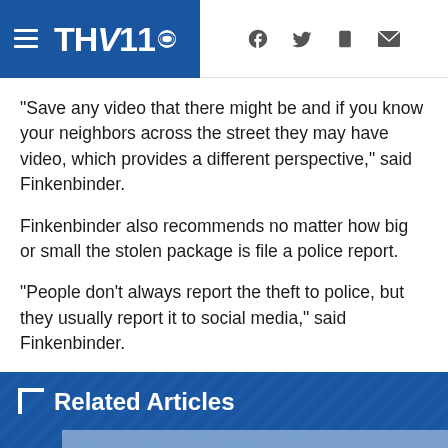THV11 (CBS)
"Save any video that there might be and if you know your neighbors across the street they may have video, which provides a different perspective," said Finkenbinder.
Finkenbinder also recommends no matter how big or small the stolen package is file a police report.
"People don't always report the theft to police, but they usually report it to social media," said Finkenbinder.
Related Articles
Arkansas dad diagnosed with COVID given 50/50 chance of living
Blood supply hits emergency low levels in Arkansas